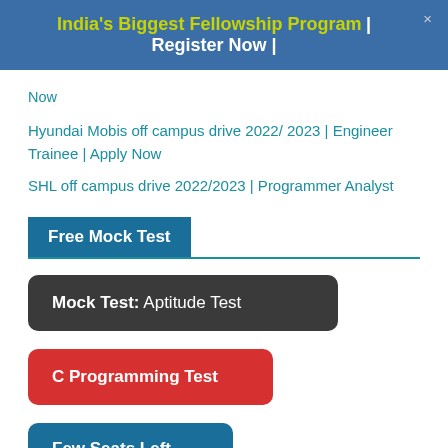India's Biggest Fellowship Program | Register Now |
Now
Hyundai Mobis off campus drive 2022/ 2023 | Engineer Trainee | Apply Now
SHL off campus drive 2022/2023 | Programmer Analyst
Free Mock Test
Mock Test: Aptitude Test
C Programming Test
Few Seats Left